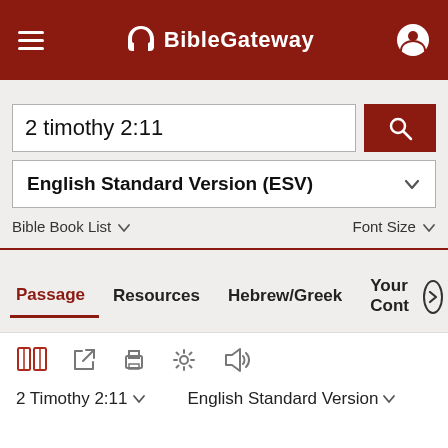BibleGateway
2 timothy 2:11
English Standard Version (ESV)
Bible Book List  Font Size
Passage  Resources  Hebrew/Greek  Your Cont
2 Timothy 2:11  English Standard Version